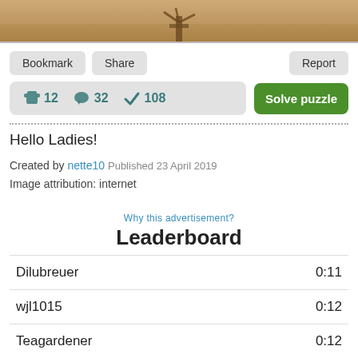[Figure (photo): Partial photo of a sandy/earthy background with what appears to be a tree or animal silhouette at the bottom of a cropped image strip]
Bookmark  Share  Report
🧩 12  💬 32  ✔ 108  Solve puzzle
Hello Ladies!
Created by nette10  Published 23 April 2019
Image attribution: internet
Why this advertisement?
Leaderboard
| Name | Time |
| --- | --- |
| Dilubreuer | 0:11 |
| wjl1015 | 0:12 |
| Teagardener | 0:12 |